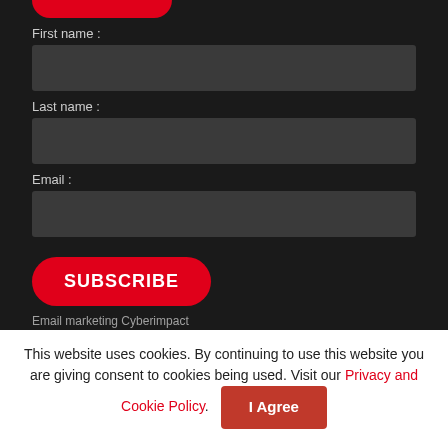[Figure (other): Red rounded button (partially cropped) at top of dark section]
First name :
Last name :
Email :
SUBSCRIBE
Email marketing Cyberimpact
This website uses cookies. By continuing to use this website you are giving consent to cookies being used. Visit our Privacy and Cookie Policy.
I Agree